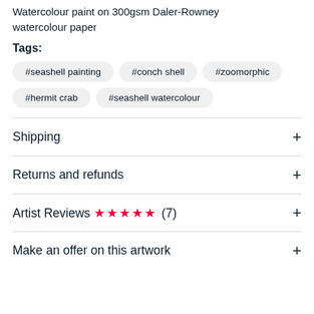Watercolour paint on 300gsm Daler-Rowney watercolour paper
Tags:
#seashell painting
#conch shell
#zoomorphic
#hermit crab
#seashell watercolour
Shipping
Returns and refunds
Artist Reviews ★★★★★ (7)
Make an offer on this artwork